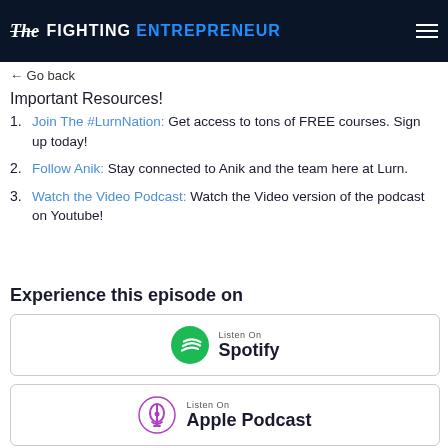The Fighting Entrepreneur
← Go back
Important Resources!
Join The #LurnNation: Get access to tons of FREE courses. Sign up today!
Follow Anik: Stay connected to Anik and the team here at Lurn.
Watch the Video Podcast: Watch the Video version of the podcast on Youtube!
Experience this episode on
[Figure (logo): Listen On Spotify badge with green Spotify logo icon]
[Figure (logo): Listen On Apple Podcast badge with purple podcast icon]